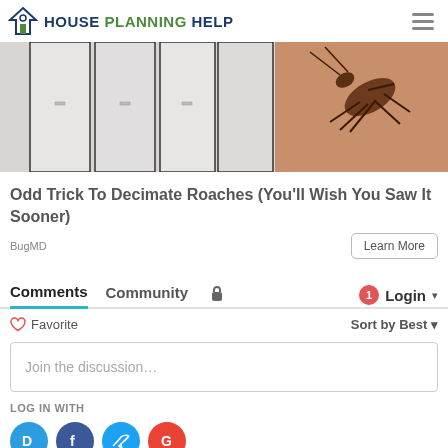House Planning Help
[Figure (illustration): Partial illustration of a cockroach on a drawer/cabinet surface with gray and tan coloring]
Odd Trick To Decimate Roaches (You'll Wish You Saw It Sooner)
BugMD
Learn More
Comments  Community  🔒  1  Login
♡ Favorite    Sort by Best
Join the discussion...
LOG IN WITH
[Figure (logo): Social login icons: Disqus (blue), Facebook (dark blue), Twitter (light blue), Google (red)]